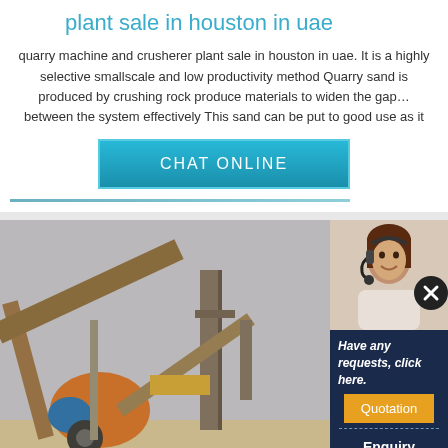plant sale in houston in uae
quarry machine and crusherer plant sale in houston in uae. It is a highly selective smallscale and low productivity method Quarry sand is produced by crushing rock produce materials to widen the gap… between the system effectively This sand can be put to good use as it
[Figure (other): CHAT ONLINE button in teal/blue color]
[Figure (photo): Industrial quarry crushing plant machinery on outdoor site]
[Figure (photo): Customer service representative with headset, dark navy sidebar with Have any requests click here text, Quotation button in orange, Enquiry link, and email limingjlmofen@sina.com]